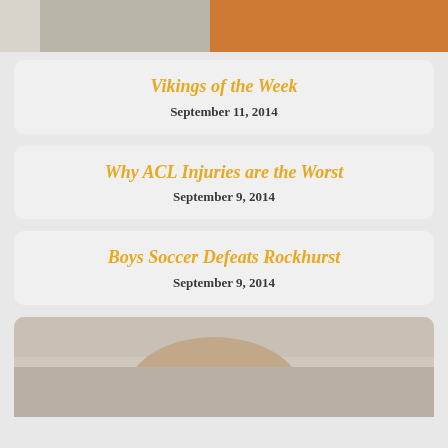[Figure (photo): Partial photo of people at top of page]
Vikings of the Week
September 11, 2014
Why ACL Injuries are the Worst
September 9, 2014
Boys Soccer Defeats Rockhurst
September 9, 2014
[Figure (photo): Partial photo of a person at bottom of page]